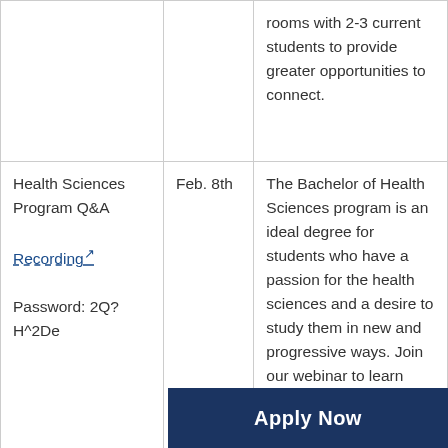| Event | Date | Description |
| --- | --- | --- |
|  |  | rooms with 2-3 current students to provide greater opportunities to connect. |
| Health Sciences Program Q&A

Recording

Password: 2Q?H^2De | Feb. 8th | The Bachelor of Health Sciences program is an ideal degree for students who have a passion for the health sciences and a desire to study them in new and progressive ways. Join our webinar to learn more about what makes this ... everything you need to know about applying. This |